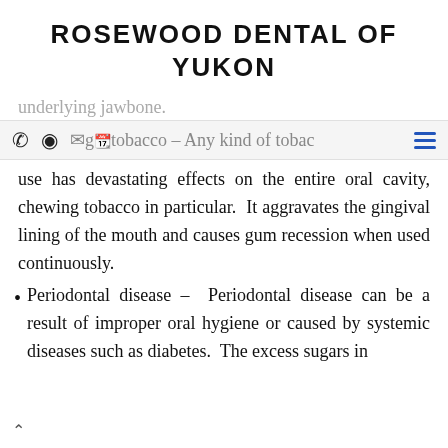ROSEWOOD DENTAL OF YUKON
underlying jawbone.
using tobacco – Any kind of tobacco use has devastating effects on the entire oral cavity, chewing tobacco in particular.
use has devastating effects on the entire oral cavity, chewing tobacco in particular.  It aggravates the gingival lining of the mouth and causes gum recession when used continuously.
Periodontal disease – Periodontal disease can be a result of improper oral hygiene or caused by systemic diseases such as diabetes.  The excess sugars in